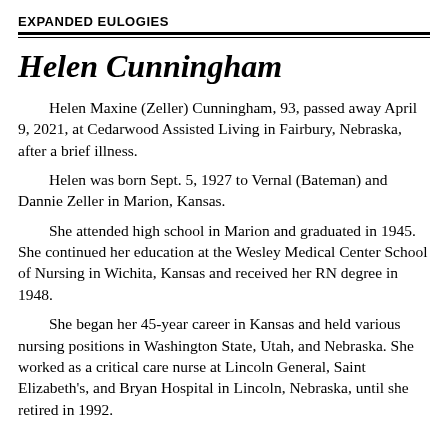EXPANDED EULOGIES
Helen Cunningham
Helen Maxine (Zeller) Cunningham, 93, passed away April 9, 2021, at Cedarwood Assisted Living in Fairbury, Nebraska, after a brief illness.
Helen was born Sept. 5, 1927 to Vernal (Bateman) and Dannie Zeller in Marion, Kansas.
She attended high school in Marion and graduated in 1945. She continued her education at the Wesley Medical Center School of Nursing in Wichita, Kansas and received her RN degree in 1948.
She began her 45-year career in Kansas and held various nursing positions in Washington State, Utah, and Nebraska. She worked as a critical care nurse at Lincoln General, Saint Elizabeth's, and Bryan Hospital in Lincoln, Nebraska, until she retired in 1992.